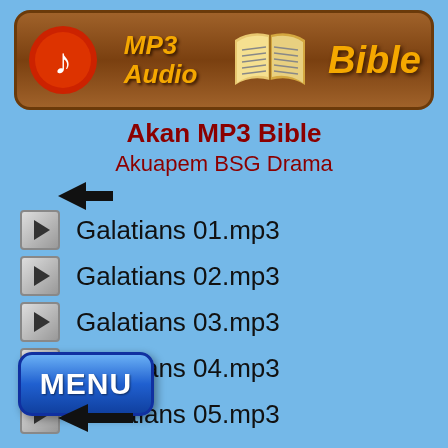[Figure (logo): MP3 Audio Bible banner logo with musical note icon, open bible illustration, orange text on brown background]
Akan MP3 Bible
Akuapem BSG Drama
Galatians 01.mp3
Galatians 02.mp3
Galatians 03.mp3
Galatians 04.mp3
Galatians 05.mp3
Galatians 06.mp3
[Figure (illustration): Blue MENU button at bottom left]
[Figure (illustration): Back arrow at bottom]